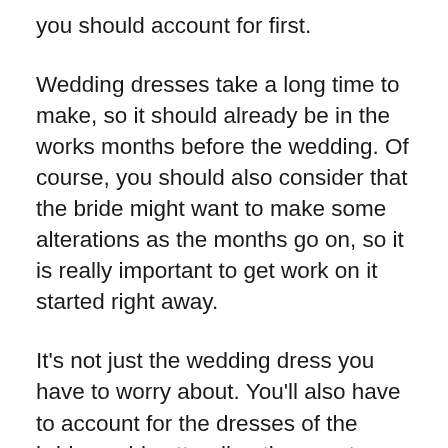you should account for first.
Wedding dresses take a long time to make, so it should already be in the works months before the wedding. Of course, you should also consider that the bride might want to make some alterations as the months go on, so it is really important to get work on it started right away.
It's not just the wedding dress you have to worry about. You'll also have to account for the dresses of the bridesmaids attending the event. Usually, these are made alongside the wedding dress, so they complement the